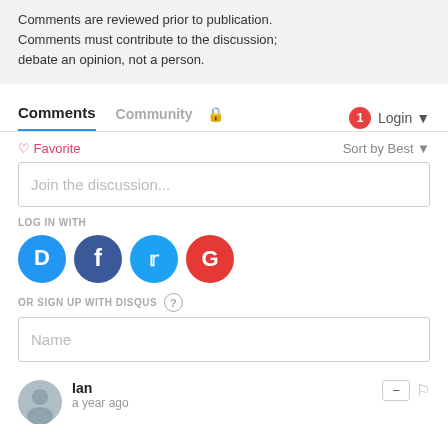Comments are reviewed prior to publication. Comments must contribute to the discussion; debate an opinion, not a person.
Comments  Community  🔒  1  Login
♡ Favorite  Sort by Best
Join the discussion...
LOG IN WITH
[Figure (other): Social login icons: Disqus (blue), Facebook (dark blue), Twitter (light blue), Google (red)]
OR SIGN UP WITH DISQUS ?
Name
Ian
a year ago